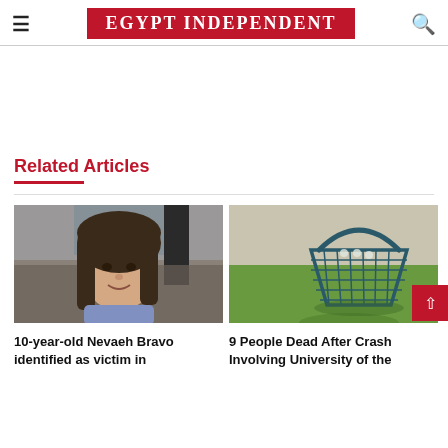EGYPT INDEPENDENT
Related Articles
[Figure (photo): Photo of a young girl with long dark hair sitting in a car, smiling]
10-year-old Nevaeh Bravo identified as victim in
[Figure (photo): Photo of a blue wire basket on green grass]
9 People Dead After Crash Involving University of the